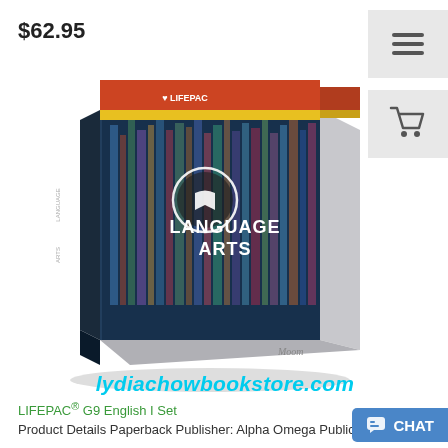$62.95
[Figure (photo): LIFEPAC Language Arts curriculum box set product photo. Box has an orange/red top band with LIFEPAC logo, a yellow stripe, and a dark navy/teal main face showing bookshelves in the background with a circular book icon logo and the text LANGUAGE ARTS in white bold letters. The box side shows spine labels. A watermark 'lydiachowbookstore.com' in cyan italic text overlays the bottom of the image.]
lydiachowbookstore.com
LIFEPAC® G9 English I Set
Product Details Paperback Publisher: Alpha Omega Publications